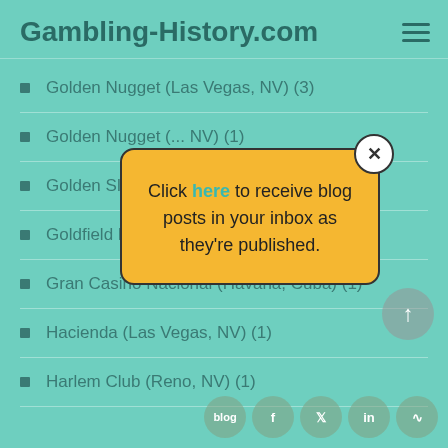Gambling-History.com
Golden Nugget (Las Vegas, NV) (3)
Golden Nugget (... NV) (1)
Golden Slot (Las...
Goldfield Hotel (...
Gran Casino Nacional (Havana, Cuba) (1)
Hacienda (Las Vegas, NV) (1)
Harlem Club (Reno, NV) (1)
[Figure (screenshot): Popup dialog with yellow background showing 'Click here to receive blog posts in your inbox as they're published.' with a close button.]